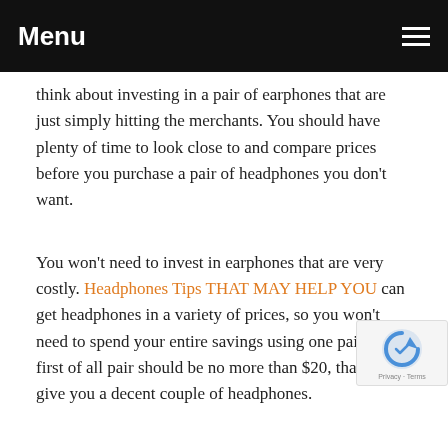Menu
think about investing in a pair of earphones that are just simply hitting the merchants. You should have plenty of time to look close to and compare prices before you purchase a pair of headphones you don't want.
You won't need to invest in earphones that are very costly. Headphones Tips THAT MAY HELP YOU can get headphones in a variety of prices, so you won't need to spend your entire savings using one pair. Your first of all pair should be no more than $20, that will give you a decent couple of headphones.
Before you buy headphones, you need to read different